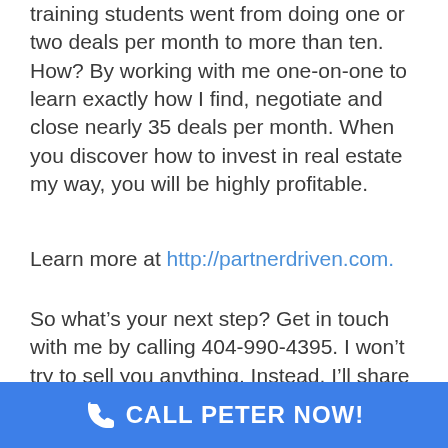training students went from doing one or two deals per month to more than ten. How? By working with me one-on-one to learn exactly how I find, negotiate and close nearly 35 deals per month. When you discover how to invest in real estate my way, you will be highly profitable.
Learn more at http://partnerdriven.com.
So what’s your next step? Get in touch with me by calling 404-990-4395. I won’t try to sell you anything. Instead, I’ll share how I invest in real estate. This is my cell phone number and I answer it consistently. If you get my
[Figure (infographic): Blue call-to-action button bar with phone icon and text 'CALL PETER NOW!']